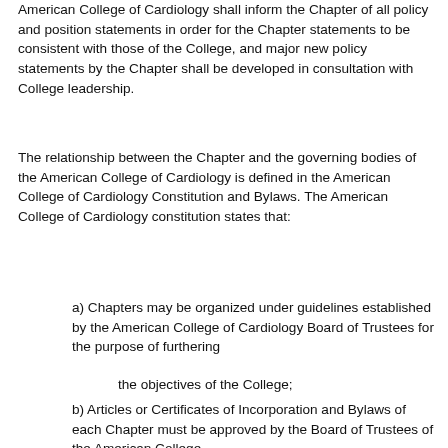American College of Cardiology shall inform the Chapter of all policy and position statements in order for the Chapter statements to be consistent with those of the College, and major new policy statements by the Chapter shall be developed in consultation with College leadership.
The relationship between the Chapter and the governing bodies of the American College of Cardiology is defined in the American College of Cardiology Constitution and Bylaws. The American College of Cardiology constitution states that:
a) Chapters may be organized under guidelines established by the American College of Cardiology Board of Trustees for the purpose of furthering the objectives of the College;
b) Articles or Certificates of Incorporation and Bylaws of each Chapter must be approved by the Board of Trustees of the American College